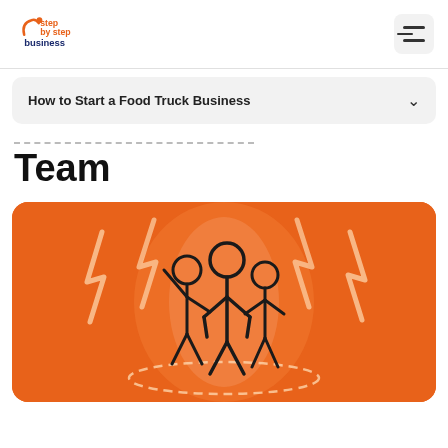step by step business
How to Start a Food Truck Business
Team
[Figure (illustration): Orange background illustration showing three stick-figure people standing together under a spotlight with lightning bolt shapes radiating outward and a dashed oval at their feet, representing a team.]